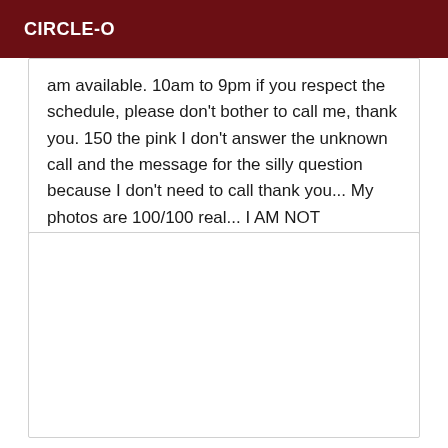CIRCLE-O
am available. 10am to 9pm if you respect the schedule, please don't bother to call me, thank you. 150 the pink I don't answer the unknown call and the message for the silly question because I don't need to call thank you... My photos are 100/100 real... I AM NOT AVAILABLE SUNDAY thank you...
[Figure (other): Empty white card/box below the text card]